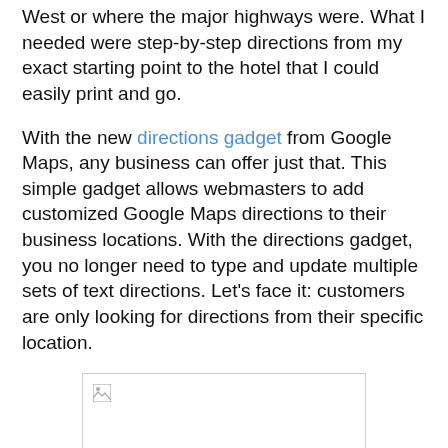West or where the major highways were. What I needed were step-by-step directions from my exact starting point to the hotel that I could easily print and go.
With the new directions gadget from Google Maps, any business can offer just that. This simple gadget allows webmasters to add customized Google Maps directions to their business locations. With the directions gadget, you no longer need to type and update multiple sets of text directions. Let's face it: customers are only looking for directions from their specific location.
[Figure (other): Broken/missing image placeholder with small image icon in top-left corner, shown in a bordered box]
Google has made this process easy for you. The gadget allows you to pre-fill the "To" field with one or multiple addresses, a generic zip code or even a specific set of latitude-longitude coordinates. Customers are able to print their directions with a single click. And if they would prefer not to bring the paper, they can view directions on their mobile...